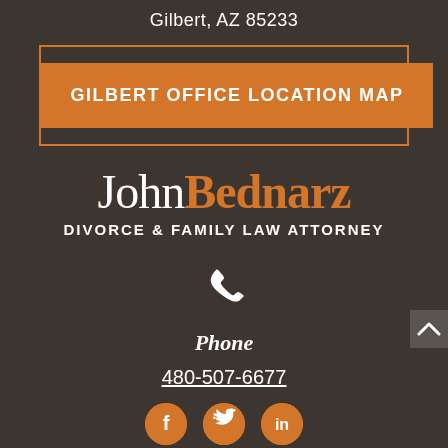Gilbert, AZ 85233
GILBERT OFFICE LOCATION MAP
[Figure (logo): John Bednarz Divorce & Family Law Attorney logo — 'John' in white serif, 'Bednarz' in orange bold serif, subtitle 'DIVORCE & FAMILY LAW ATTORNEY' in white caps]
[Figure (illustration): White phone handset icon]
Phone
480-507-6677
[Figure (illustration): Three orange circular social media icons: Facebook (f), Twitter (bird), LinkedIn (in)]